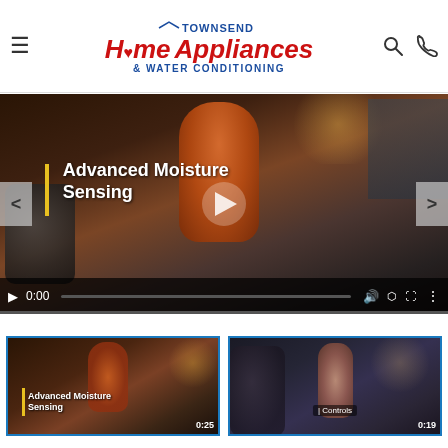[Figure (logo): Townsend Home Appliances & Water Conditioning logo with hamburger menu, search icon, and phone icon in header]
[Figure (screenshot): Main video player showing 'Advanced Moisture Sensing' video with a man in orange shirt near a washer/dryer, paused at 0:00, with navigation arrows and video controls]
[Figure (screenshot): Thumbnail of 'Advanced Moisture Sensing' video showing man in orange shirt, duration 0:25 with blue border]
[Figure (screenshot): Thumbnail of second video showing woman with laundry near washer, labeled Controls with duration 0:19, with blue border]